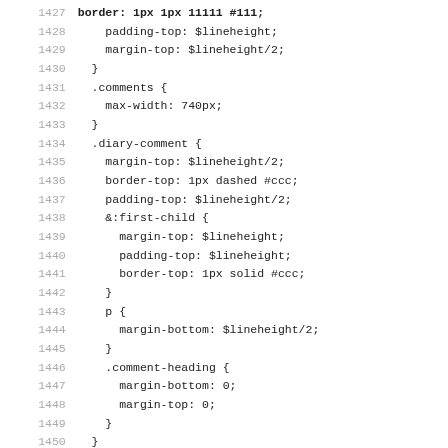[Figure (screenshot): Source code listing showing CSS/SCSS code, lines 1427-1459, with line numbers on the left in gray and code on the right in monospace font.]